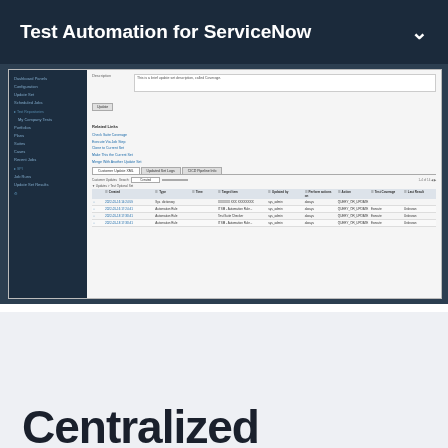Test Automation for ServiceNow
[Figure (screenshot): Screenshot of a ServiceNow Test Automation interface showing a sidebar navigation on the left and a main content area with a form, related links section, and a tabbed data table listing test automation runs with columns for Created, Type, Time, Target Item, Updated by, Performed Actions On, Action, Test Coverage, and Last Result.]
Centralized